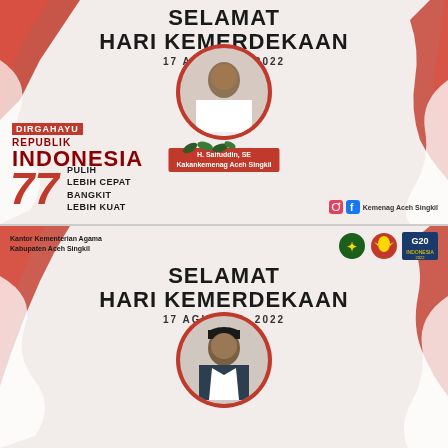[Figure (infographic): Indonesian Independence Day greeting card (top). Red and white decorative ribbons on sides. Circular portrait photo of H. Saifuddin, SE, Kakankemenag Aceh Singkil. Text: SELAMAT HARI KEMERDEKAAN, 17 AGUSTUS, 2022. DIRGAHAYU REPUBLIK INDONESIA. Large '77' with PULIH LEBIH CEPAT BANGKIT LEBIH KUAT slogan. Social media handle Kemenag Aceh Singkil.]
[Figure (infographic): Indonesian Independence Day greeting card (bottom). Kantor Kementerian Agama Kabupaten Aceh Singkil. Logos top right. Circular portrait of official in black hat. Text: SELAMAT HARI KEMERDEKAAN, 17 AGUSTUS, 2022.]